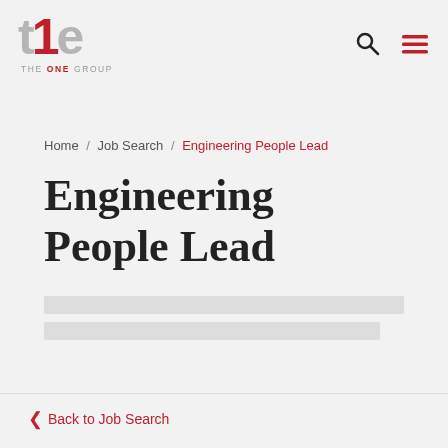[Figure (logo): The One Group logo — stylized letters 'the' in grey with red number '1', tagline 'THE ONE GROUP' below]
Home / Job Search / Engineering People Lead
Engineering People Lead
‹ Back to Job Search